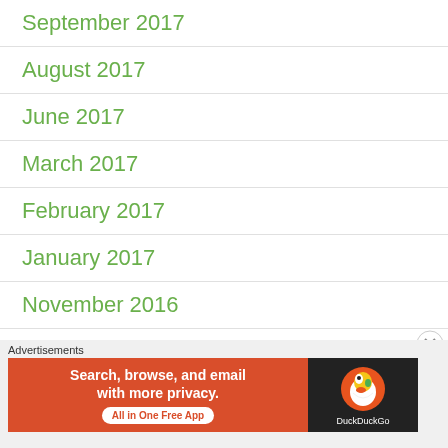September 2017
August 2017
June 2017
March 2017
February 2017
January 2017
November 2016
October 2016
[Figure (screenshot): DuckDuckGo advertisement banner: 'Search, browse, and email with more privacy. All in One Free App' with DuckDuckGo logo on dark background]
Advertisements